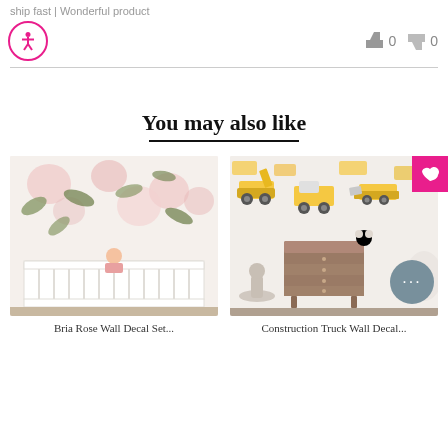ship fast | Wonderful product
[Figure (logo): Accessibility icon — pink circle with person symbol]
[Figure (other): Thumbs up icon with count 0 and thumbs down icon with count 0]
You may also like
[Figure (photo): Floral watercolor wall decal wallpaper in a nursery room with a white crib and a baby inside]
[Figure (photo): Construction truck wall decal wallpaper with a mid-century modern dresser and rocking horse]
Bria Rose Wall Decal Set...
Construction Truck Wall Decal...